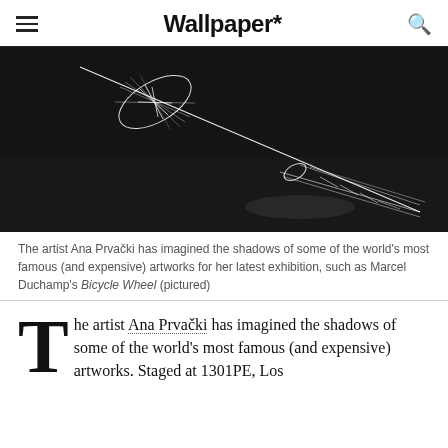Wallpaper*
[Figure (photo): Dark room installation showing a white geometric line artwork resembling a bicycle wheel shadow projected diagonally across floor and wall, by Ana Prvački.]
The artist Ana Prvački has imagined the shadows of some of the world's most famous (and expensive) artworks for her latest exhibition, such as Marcel Duchamp's Bicycle Wheel (pictured)
he artist Ana Prvački has imagined the shadows of some of the world's most famous (and expensive) artworks. Staged at 1301PE, Los